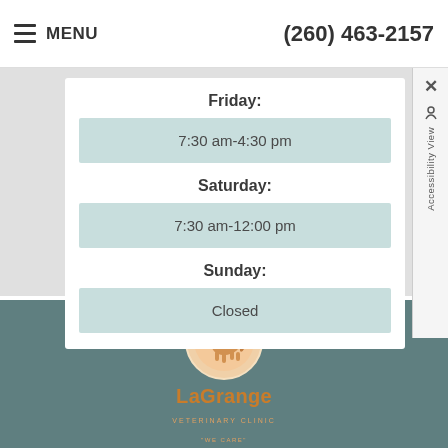MENU | (260) 463-2157
Friday:
7:30 am-4:30 pm
Saturday:
7:30 am-12:00 pm
Sunday:
Closed
[Figure (logo): LaGrange Veterinary Clinic logo with orange horse silhouette in a circle, with text LaGrange Veterinary Clinic We Care]